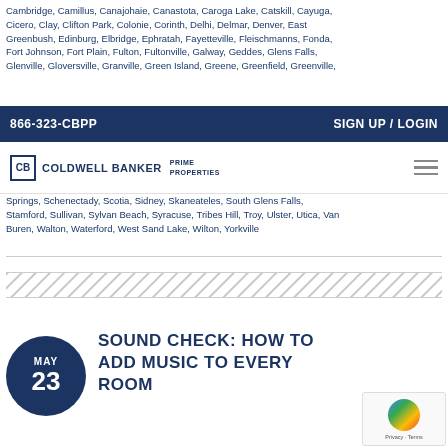Cambridge, Camillus, Canajohaie, Canastota, Caroga Lake, Catskill, Cayuga, Cicero, Clay, Clifton Park, Colonie, Corinth, Delhi, Delmar, Denver, East Greenbush, Edinburg, Elbridge, Ephratah, Fayetteville, Fleischmanns, Fonda, Fort Johnson, Fort Plain, Fulton, Fultonville, Galway, Geddes, Glens Falls, Glenville, Gloversville, Granville, Green Island, Greene, Greenfield, Greenville
866-323-CBPP   SIGN UP / LOGIN
[Figure (logo): Coldwell Banker Prime Properties logo with hamburger menu icon]
Springs, Schenectady, Scotia, Sidney, Skaneateles, South Glens Falls, Stamford, Sullivan, Sylvan Beach, Syracuse, Tribes Hill, Troy, Ulster, Utica, Van Buren, Walton, Waterford, West Sand Lake, Wilton, Yorkville
[Figure (other): Diagonal hatch pattern divider bar]
SOUND CHECK: HOW TO ADD MUSIC TO EVERY ROOM
MAY 23